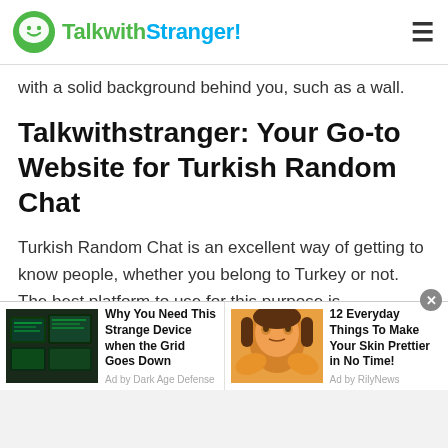TalkwithStranger!
with a solid background behind you, such as a wall.
Talkwithstranger: Your Go-to Website for Turkish Random Chat
Turkish Random Chat is an excellent way of getting to know people, whether you belong to Turkey or not. The best platform to use for this purpose is undoubtedly Talkwithstranger! Our website allows you to communicate with people from any part of the world.
We have taken video chatting to the next level by
[Figure (other): Advertisement banner with two ads: 1) 'Why You Need This Strange Device when the Grid Goes Down' by Dark Age Defense with an image of computer screens; 2) '12 Everyday Things To Make Your Skin Prettier in No Time!' by RilyNews with an image of a woman applying face mask]